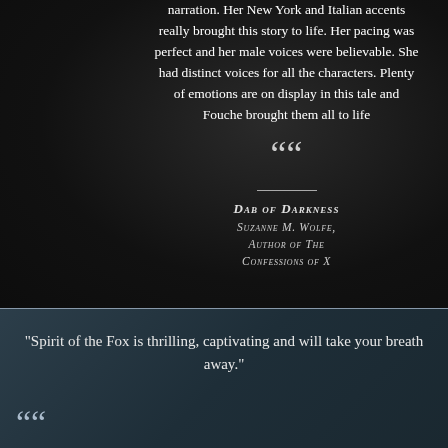narration. Her New York and Italian accents really brought this story to life. Her pacing was perfect and her male voices were believable. She had distinct voices for all the characters. Plenty of emotions are on display in this tale and Fouche brought them all to life
““
Dab of Darkness
Suzanne M. Wolfe, Author of The Confessions of X
"Spirit of the Fox is thrilling, captivating and will take your breath away."
““